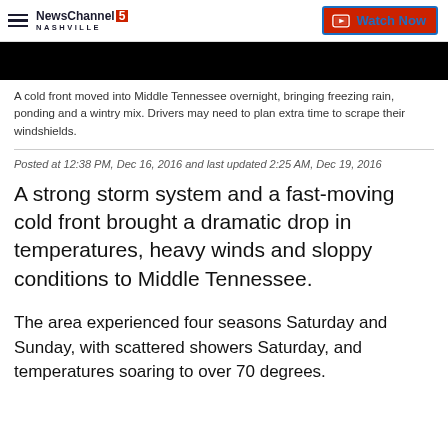NewsChannel 5 NASHVILLE | Watch Now
[Figure (photo): Black image bar, partial video frame]
A cold front moved into Middle Tennessee overnight, bringing freezing rain, ponding and a wintry mix. Drivers may need to plan extra time to scrape their windshields.
Posted at 12:38 PM, Dec 16, 2016 and last updated 2:25 AM, Dec 19, 2016
A strong storm system and a fast-moving cold front brought a dramatic drop in temperatures, heavy winds and sloppy conditions to Middle Tennessee.
The area experienced four seasons Saturday and Sunday, with scattered showers Saturday, and temperatures soaring to over 70 degrees.